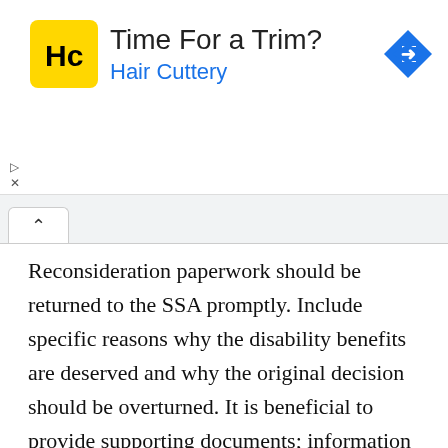[Figure (other): Advertisement banner for Hair Cuttery with yellow logo, text 'Time For a Trim? Hair Cuttery', and a blue navigation arrow icon]
Reconsideration paperwork should be returned to the SSA promptly. Include specific reasons why the disability benefits are deserved and why the original decision should be overturned. It is beneficial to provide supporting documents; information from recent medical appointments or medical opinions from a new doctor can add weight to the claimant's case. An SSA official not involved in the original decision will reconsider the case and make a determination based on the information provided.